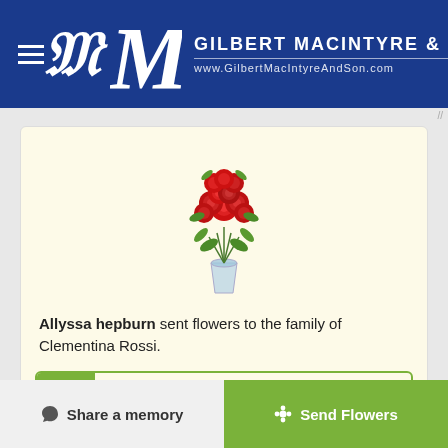GILBERT MACINTYRE & SON — www.GilbertMacIntyreAndSon.com
[Figure (illustration): Red roses bouquet in a glass vase with greenery]
Allyssa hepburn sent flowers to the family of Clementina Rossi.
Show you care by sending flowers
Hand delivered by a local florist
Share a memory | Send Flowers